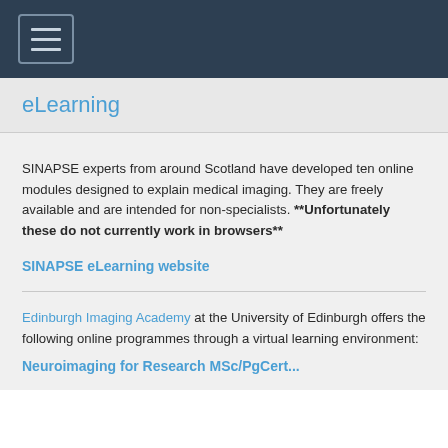[Figure (other): Dark navy navigation bar with hamburger menu icon button (three horizontal lines) in top-left corner]
eLearning
SINAPSE experts from around Scotland have developed ten online modules designed to explain medical imaging. They are freely available and are intended for non-specialists. **Unfortunately these do not currently work in browsers**
SINAPSE eLearning website
Edinburgh Imaging Academy at the University of Edinburgh offers the following online programmes through a virtual learning environment:
Neuroimaging for Research MSc/PgCert...